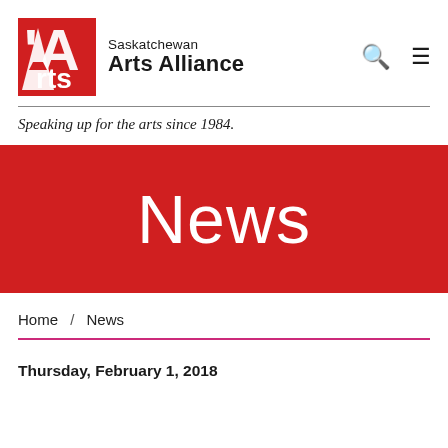[Figure (logo): Saskatchewan Arts Alliance logo — red square with white 'Arts' stylized text, next to 'Saskatchewan Arts Alliance' organization name]
Speaking up for the arts since 1984.
News
Home / News
Thursday, February 1, 2018